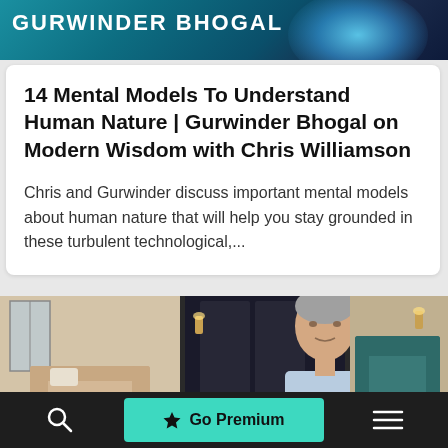[Figure (illustration): Teal/blue gradient banner with bold white uppercase text 'GURWINDER BHOGAL' and a glowing blue light burst on the right side]
14 Mental Models To Understand Human Nature | Gurwinder Bhogal on Modern Wisdom with Chris Williamson
Chris and Gurwinder discuss important mental models about human nature that will help you stay grounded in these turbulent technological,...
[Figure (photo): Photo of a middle-aged man with grey hair wearing a light blue shirt, seated in an elegant room with blue armchairs, decorative screens, and wall sconces]
Go Premium